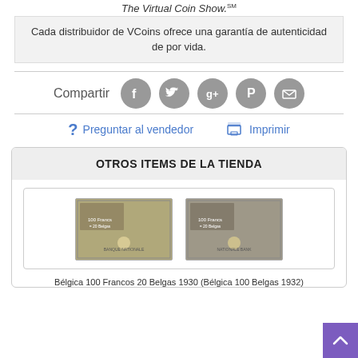The Virtual Coin Show.SM
Cada distribuidor de VCoins ofrece una garantía de autenticidad de por vida.
Compartir
Preguntar al vendedor
Imprimir
OTROS ITEMS DE LA TIENDA
[Figure (photo): Two Belgian banknotes, 100 Francs / 20 Belgas, front and back views]
Bélgica 100 Francos 20 Belgas 1930 (Bélgica 100 Belgas 1932)